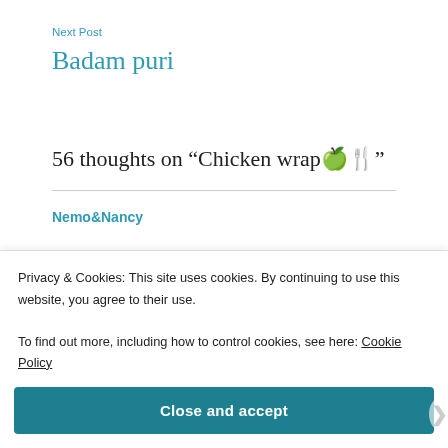Next Post
Badam puri
56 thoughts on “Chicken wrap🌯🍴”
Nemo&Nancy
Privacy & Cookies: This site uses cookies. By continuing to use this website, you agree to their use.
To find out more, including how to control cookies, see here: Cookie Policy
Close and accept